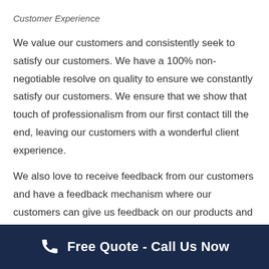Customer Experience
We value our customers and consistently seek to satisfy our customers. We have a 100% non-negotiable resolve on quality to ensure we constantly satisfy our customers. We ensure that we show that touch of professionalism from our first contact till the end, leaving our customers with a wonderful client experience.
We also love to receive feedback from our customers and have a feedback mechanism where our customers can give us feedback on our products and how we can
Free Quote - Call Us Now